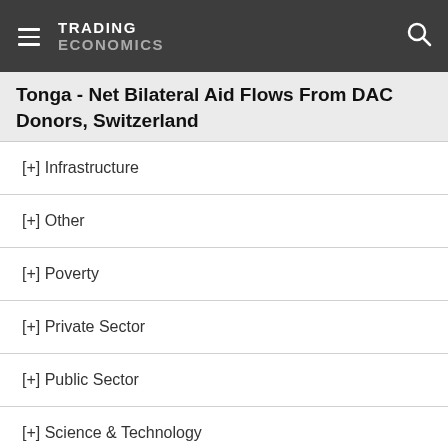TRADING ECONOMICS
Tonga - Net Bilateral Aid Flows From DAC Donors, Switzerland
[+] Infrastructure
[+] Other
[+] Poverty
[+] Private Sector
[+] Public Sector
[+] Science & Technology
[+] Social Protection & Labor
[+] Urban Development